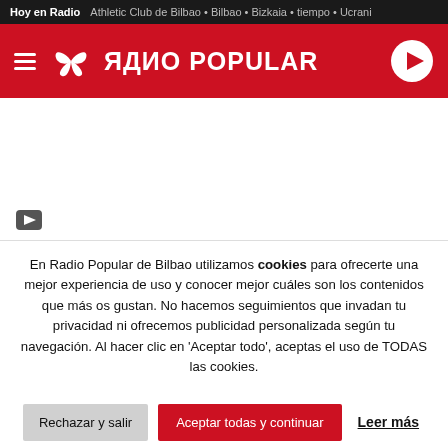Hoy en Radio  Athletic Club de Bilbao • Bilbao • Bizkaia • tiempo • Ucrani
[Figure (logo): Radio Popular website header with red background, hamburger menu, butterfly logo, RADIO POPULAR brand name, and play button]
[Figure (other): White content area with a small share icon at bottom left]
En Radio Popular de Bilbao utilizamos cookies para ofrecerte una mejor experiencia de uso y conocer mejor cuáles son los contenidos que más os gustan. No hacemos seguimientos que invadan tu privacidad ni ofrecemos publicidad personalizada según tu navegación. Al hacer clic en 'Aceptar todo', aceptas el uso de TODAS las cookies.
Rechazar y salir  Aceptar todas y continuar  Leer más